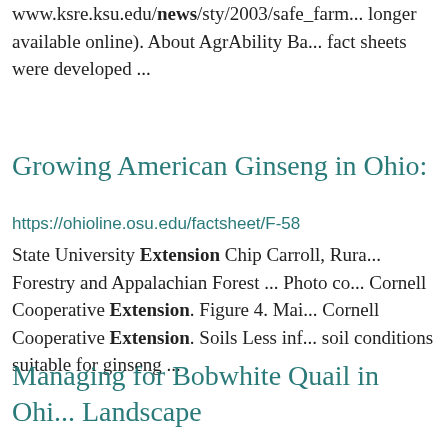www.ksre.ksu.edu/news/sty/2003/safe_farm... longer available online). About AgrAbility Ba... fact sheets were developed ...
Growing American Ginseng in Ohio:
https://ohioline.osu.edu/factsheet/F-58
State University Extension Chip Carroll, Rura... Forestry and Appalachian Forest ... Photo co... Cornell Cooperative Extension. Figure 4. Mai... Cornell Cooperative Extension. Soils Less inf... soil conditions suitable for ginseng ...
Managing for Bobwhite Quail in Ohi... Landscape